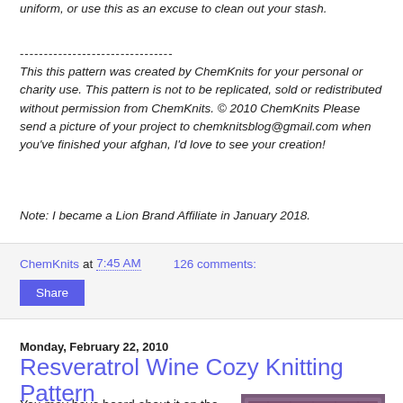uniform, or use this as an excuse to clean out your stash.
--------------------------------
This this pattern was created by ChemKnits for your personal or charity use. This pattern is not to be replicated, sold or redistributed without permission from ChemKnits. © 2010 ChemKnits Please send a picture of your project to chemknitsblog@gmail.com when you've finished your afghan, I'd love to see your creation!
Note: I became a Lion Brand Affiliate in January 2018.
ChemKnits at 7:45 AM   126 comments:
Share
Monday, February 22, 2010
Resveratrol Wine Cozy Knitting Pattern
You may have heard about it on the news. Yes, this molecule has shown potential as a "fountain of
[Figure (photo): Photo of a purple/dark crocheted or knitted wine cozy]